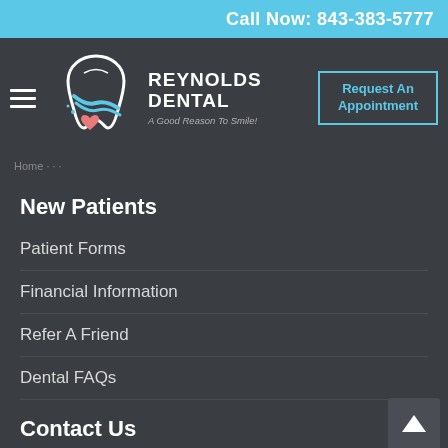Call Now: 843-383-5777
[Figure (logo): Reynolds Dental logo with stylized tooth and heart, tagline: A Good Reason To Smile!]
Request An Appointment
Home · New Patients
New Patients
Patient Forms
Financial Information
Refer A Friend
Dental FAQs
Contact Us